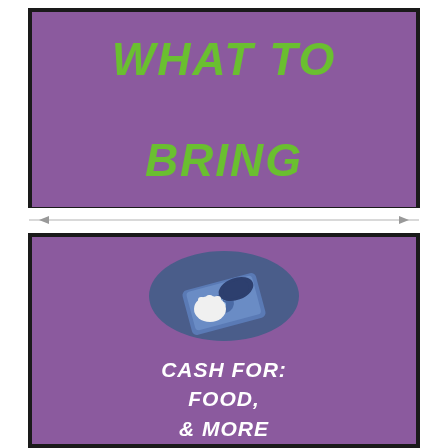WHAT TO BRING
[Figure (illustration): Hand holding a dollar bill/cash icon inside a dark blue circle, on purple background]
CASH FOR: FOOD, & MORE WINE